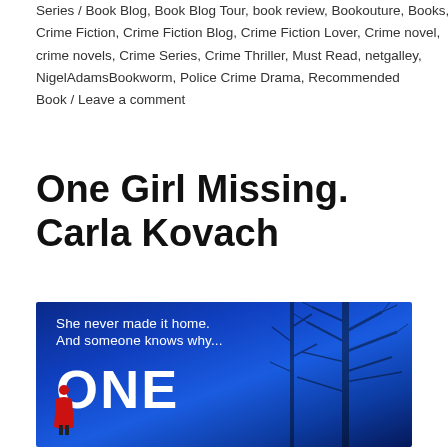Series / Book Blog, Book Blog Tour, book review, Bookouture, Books, Crime Fiction, Crime Fiction Blog, Crime Fiction Lover, Crime novel, crime novels, Crime Series, Crime Thriller, Must Read, netgalley, NigelAdamsBookworm, Police Crime Drama, Recommended Book / Leave a comment
One Girl Missing. Carla Kovach
[Figure (illustration): Book cover for 'One Girl Missing' by Carla Kovach. Dark blue background with bare tree silhouettes on the right and a red-coated figure at the bottom left. White text reads 'She never made it home. And someone knows why...' and large bold white text 'ONE' at the bottom.]